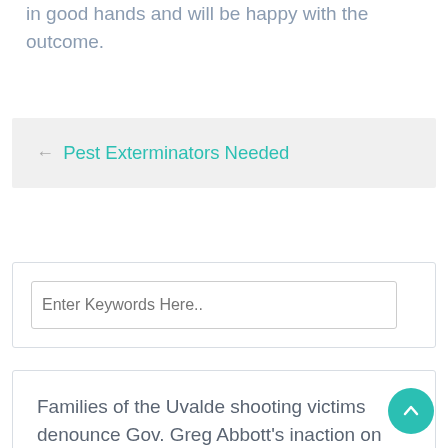in good hands and will be happy with the outcome.
← Pest Exterminators Needed
Enter Keywords Here..
Families of the Uvalde shooting victims denounce Gov. Greg Abbott's inaction on gun reform